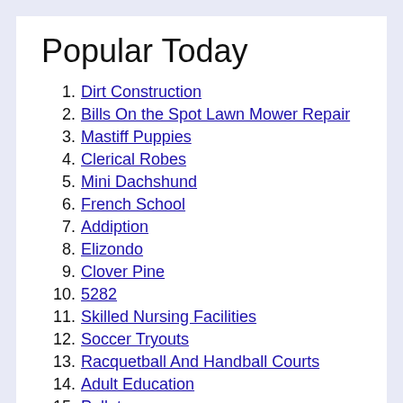Popular Today
1. Dirt Construction
2. Bills On the Spot Lawn Mower Repair
3. Mastiff Puppies
4. Clerical Robes
5. Mini Dachshund
6. French School
7. Addiption
8. Elizondo
9. Clover Pine
10. 5282
11. Skilled Nursing Facilities
12. Soccer Tryouts
13. Racquetball And Handball Courts
14. Adult Education
15. Pellets
16. Whaleminercom
17. Funerimou Clearwater